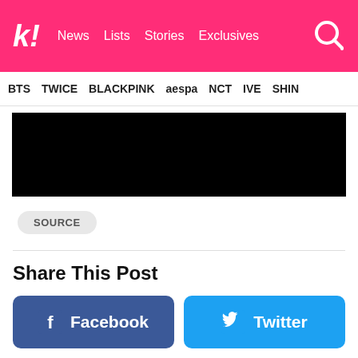k! News Lists Stories Exclusives
BTS TWICE BLACKPINK aespa NCT IVE SHIN
[Figure (photo): Black image area representing a redacted or loading photo]
SOURCE
Share This Post
Facebook
Twitter